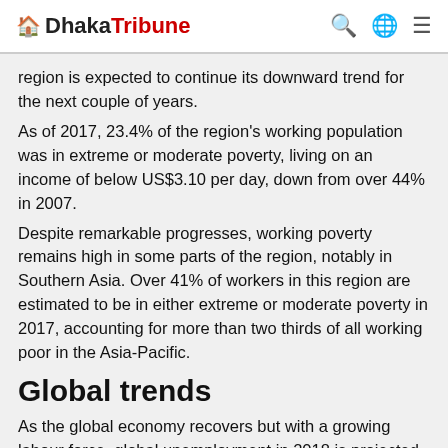Dhaka Tribune
region is expected to continue its downward trend for the next couple of years.
As of 2017, 23.4% of the region's working population was in extreme or moderate poverty, living on an income of below US$3.10 per day, down from over 44% in 2007.
Despite remarkable progresses, working poverty remains high in some parts of the region, notably in Southern Asia. Over 41% of workers in this region are estimated to be in either extreme or moderate poverty in 2017, accounting for more than two thirds of all working poor in the Asia-Pacific.
Global trends
As the global economy recovers but with a growing labour force, global unemployment in 2018 is projected to remain at a similar level to the rate in 2017.
The global unemployment rate has been stabilizing after a rise in 2016. It reached an estimated 5.6% in 2017, with the total number of unemployed exceeding